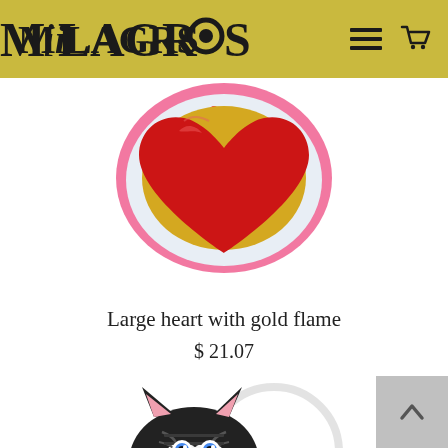MiLAGROS
[Figure (photo): Decorative metal milagro heart ornament with red glossy center heart, gold trim border, and colorful floral decorated white outer border with pink scalloped edge]
Large heart with gold flame
$ 21.07
[Figure (photo): Black and white ceramic cat figurine with blue eyes, striped face markings, and pink inner ears, partially visible with a white decorative element behind it]